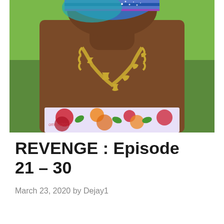[Figure (photo): Close-up photo of a Black woman wearing a colorful head wrap, a gold decorative necklace, and a floral strapless top. The background is blurred green foliage. A small watermark reads 'omnia2012' in the lower-left of the image.]
REVENGE : Episode 21 – 30
March 23, 2020 by Dejay1